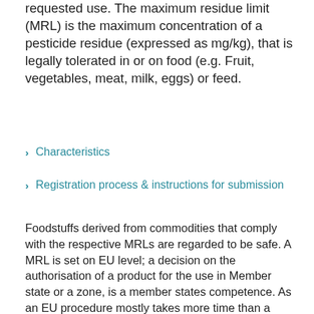requested use. The maximum residue limit (MRL) is the maximum concentration of a pesticide residue (expressed as mg/kg), that is legally tolerated in or on food (e.g. Fruit, vegetables, meat, milk, eggs) or feed.
Characteristics
Registration process & instructions for submission
Foodstuffs derived from commodities that comply with the respective MRLs are regarded to be safe. A MRL is set on EU level; a decision on the authorisation of a product for the use in Member state or a zone, is a member states competence. As an EU procedure mostly takes more time than a zonal application for registration in NL, we recommend to submit an application for MRL setting before the application for authorisation. It is more likely than, the MRL has been set when the authorisation process ends.